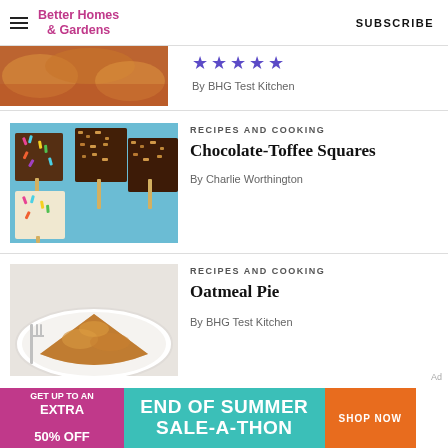Better Homes & Gardens   SUBSCRIBE
[Figure (photo): Partial view of baked crumble-topped food item on an orange/red background]
[Figure (other): Five purple/blue star rating icons]
By BHG Test Kitchen
[Figure (photo): Chocolate-toffee squares and colorful sprinkled bar pops on sticks on a blue background]
RECIPES AND COOKING
Chocolate-Toffee Squares
By Charlie Worthington
[Figure (photo): Slice of oatmeal pie on a white plate with a fork]
RECIPES AND COOKING
Oatmeal Pie
By BHG Test Kitchen
[Figure (infographic): Advertisement banner: GET UP TO AN EXTRA 50% OFF | END OF SUMMER SALE-A-THON | SHOP NOW]